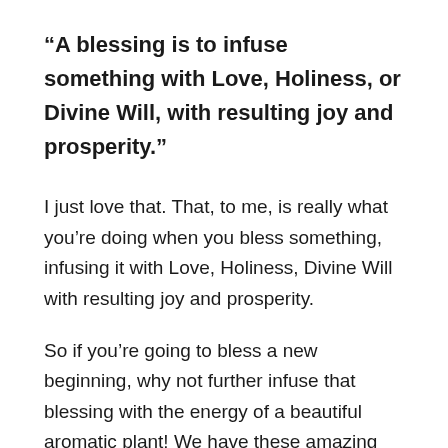“A blessing is to infuse something with Love, Holiness, or Divine Will, with resulting joy and prosperity.”
I just love that. That, to me, is really what you’re doing when you bless something, infusing it with Love, Holiness, Divine Will with resulting joy and prosperity.
So if you’re going to bless a new beginning, why not further infuse that blessing with the energy of a beautiful aromatic plant! We have these amazing essential oils, we have hydrosols, we have CO2s, we have all sorts of gorgeous ingredients that come from our plants. There